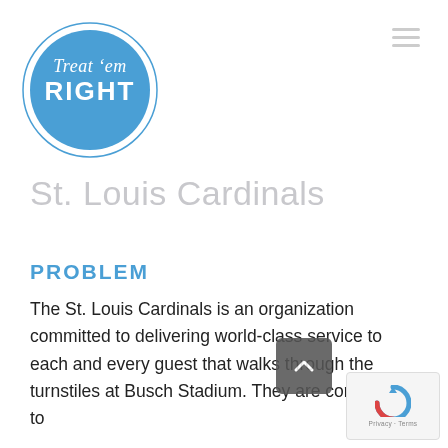[Figure (logo): Treat 'em RIGHT logo — blue circle with inner ring, white script text 'Treat 'em' and bold white sans-serif text 'RIGHT']
St. Louis Cardinals
PROBLEM
The St. Louis Cardinals is an organization committed to delivering world-class service to each and every guest that walks through the turnstiles at Busch Stadium. They are committed to